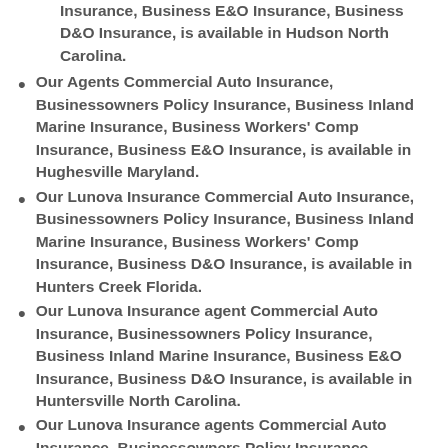Insurance, Business E&O Insurance, Business D&O Insurance, is available in Hudson North Carolina.
Our Agents Commercial Auto Insurance, Businessowners Policy Insurance, Business Inland Marine Insurance, Business Workers' Comp Insurance, Business E&O Insurance, is available in Hughesville Maryland.
Our Lunova Insurance Commercial Auto Insurance, Businessowners Policy Insurance, Business Inland Marine Insurance, Business Workers' Comp Insurance, Business D&O Insurance, is available in Hunters Creek Florida.
Our Lunova Insurance agent Commercial Auto Insurance, Businessowners Policy Insurance, Business Inland Marine Insurance, Business E&O Insurance, Business D&O Insurance, is available in Huntersville North Carolina.
Our Lunova Insurance agents Commercial Auto Insurance, Businessowners Policy Insurance,